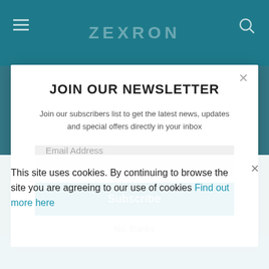ZEXRON
JOIN OUR NEWSLETTER
Join our subscribers list to get the latest news, updates and special offers directly in your inbox
Email Address
Subscribe
No, thanks
This site uses cookies. By continuing to browse the site you are agreeing to our use of cookies Find out more here